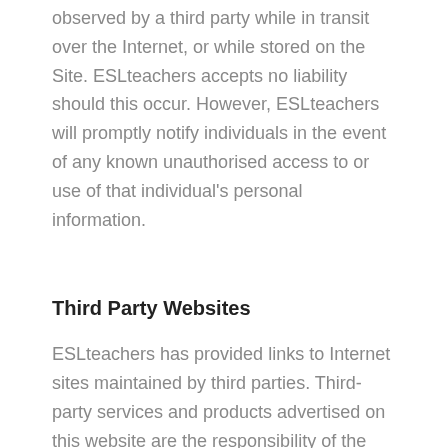observed by a third party while in transit over the Internet, or while stored on the Site. ESLteachers accepts no liability should this occur. However, ESLteachers will promptly notify individuals in the event of any known unauthorised access to or use of that individual's personal information.
Third Party Websites
ESLteachers has provided links to Internet sites maintained by third parties. Third-party services and products advertised on this website are the responsibility of the third party, and their inclusion on this website does not imply endorsement by ESLteachers. ESLteachers will not be liable for any damages or loss arising in any way in connection with